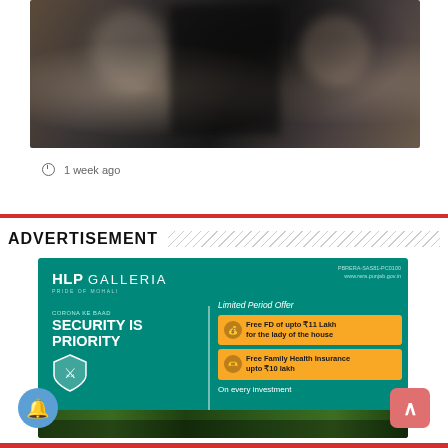[Figure (photo): Cropped photo showing two or three men, one with a large black beard wearing a white shirt, partially visible faces]
1 week ago
[Figure (illustration): HLP Galleria advertisement banner on teal background. Logo top-left reads HLP GALLERIA. Text: PBRERA-SAS81-PC0100, www.rera.punjab.gov.in. CORONA KE BAAD SECURITY IS PRIORITY with shield icon. Limited Period Offer: Free FD of upto ₹11 Lakh for the lady of the house; Free Family Health Insurance upto ₹10 lakh; On every investment.]